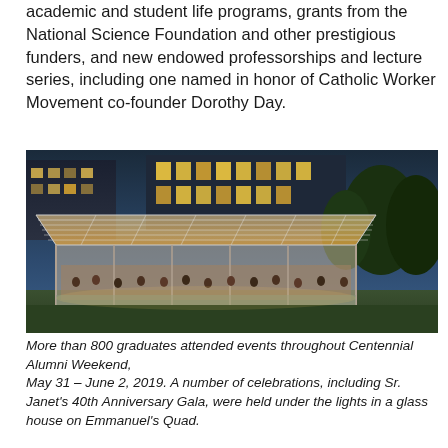academic and student life programs, grants from the National Science Foundation and other prestigious funders, and new endowed professorships and lecture series, including one named in honor of Catholic Worker Movement co-founder Dorothy Day.
[Figure (photo): Aerial view of a glass tent structure on Emmanuel's Quad, lit up from inside, with people gathered under it for an event. Buildings and trees visible in the background at dusk.]
More than 800 graduates attended events throughout Centennial Alumni Weekend, May 31 – June 2, 2019. A number of celebrations, including Sr. Janet's 40th Anniversary Gala, were held under the lights in a glass house on Emmanuel's Quad.